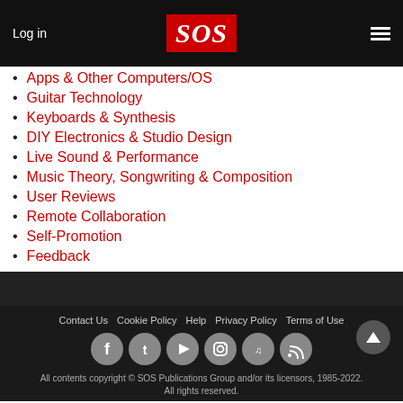Log in | SOS | Menu
Apps & Other Computers/OS
Guitar Technology
Keyboards & Synthesis
DIY Electronics & Studio Design
Live Sound & Performance
Music Theory, Songwriting & Composition
User Reviews
Remote Collaboration
Self-Promotion
Feedback
Contact Us  Cookie Policy  Help  Privacy Policy  Terms of Use
All contents copyright © SOS Publications Group and/or its licensors, 1985-2022. All rights reserved.